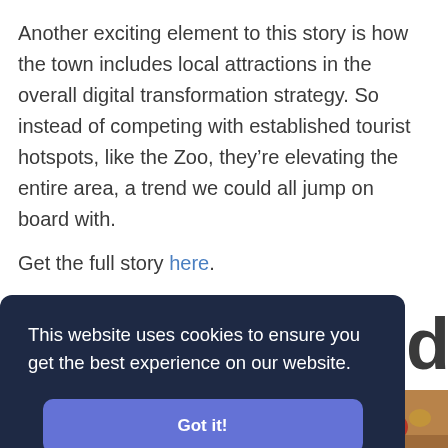Another exciting element to this story is how the town includes local attractions in the overall digital transformation strategy. So instead of competing with established tourist hotspots, like the Zoo, they're elevating the entire area, a trend we could all jump on board with.
Get the full story here.
This website uses cookies to ensure you get the best experience on our website.
Got it!
[Figure (photo): Partial view of food photograph at the bottom of the page showing colorful ingredients]